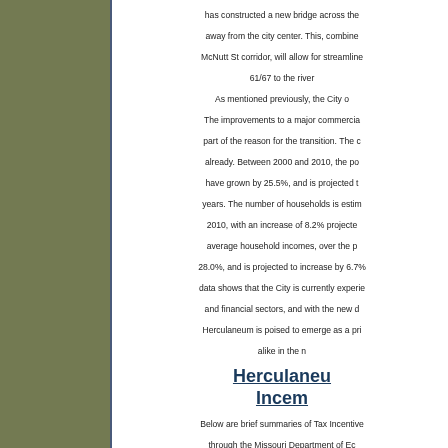has constructed a new bridge across the ... away from the city center. This, combine... McNutt St corridor, will allow for streamline... 61/67 to the river...
As mentioned previously, the City of... The improvements to a major commercia... part of the reason for the transition. The c... already. Between 2000 and 2010, the po... have grown by 25.5%, and is projected t... years. The number of households is estim... 2010, with an increase of 8.2% projecte... average household incomes, over the p... 28.0%, and is projected to increase by 6.7%... data shows that the City is currently experie... and financial sectors, and with the new d... Herculaneum is poised to emerge as a pri... alike in the n...
Herculaneum Incentives
Below are brief summaries of Tax Incentive... through the Missouri Department of Ec... commu...
Business Facility Tax Credit Program...